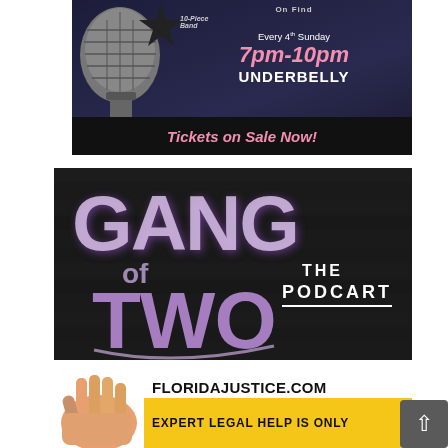[Figure (illustration): Concert/band advertisement: dark blue background with microphone image, star graphic, text reading '10-Piece Band Every 4th Sunday 7pm-10pm UNDERBELLY', black banner at bottom reading 'Tickets on Sale Now!' in pink italic text]
[Figure (logo): Gang of Two: The Podcast logo on dark brick wall background. Large graffiti-style purple/white text reading 'GANG of TWO' with 'THE PODCART' to the right in white block letters]
[Figure (illustration): Florida Justice advertisement: hand image on left, FLORIDAJUSTICE.COM in bold black text, yellow banner below reading 'EXPERT LEGAL HELP IS ONLY']